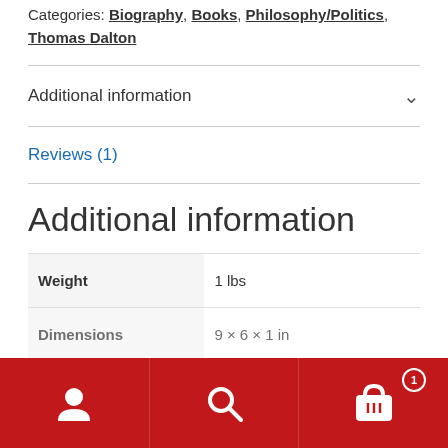Categories: Biography, Books, Philosophy/Politics, Thomas Dalton
Additional information
Reviews (1)
Additional information
|  |  |
| --- | --- |
| Weight | 1 lbs |
| Dimensions | 9 × 6 × 1 in |